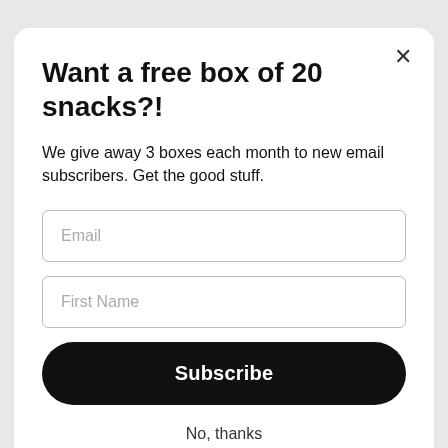Want a free box of 20 snacks?!
We give away 3 boxes each month to new email subscribers. Get the good stuff.
[Figure (screenshot): Email input field with placeholder text 'Email']
[Figure (screenshot): First Name input field with placeholder text 'First Name']
Subscribe
No, thanks